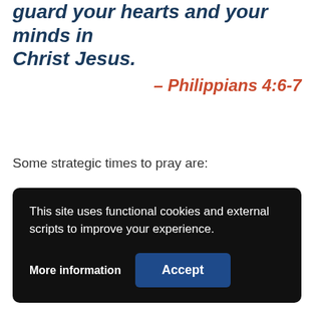guard your hearts and your minds in Christ Jesus.
– Philippians 4:6-7
Some strategic times to pray are:
This site uses functional cookies and external scripts to improve your experience.
More information   Accept